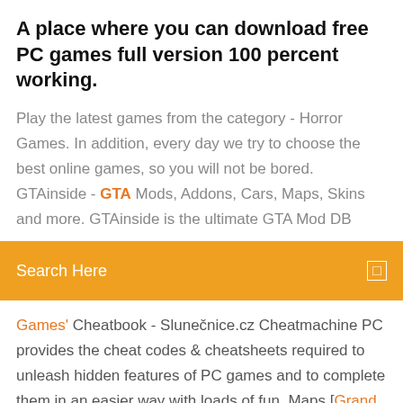A place where you can download free PC games full version 100 percent working.
Play the latest games from the category - Horror Games. In addition, every day we try to choose the best online games, so you will not be bored. GTAinside - GTA Mods, Addons, Cars, Maps, Skins and more. GTAinside is the ultimate GTA Mod DB
Search Here
Games' Cheatbook - Slunečnice.cz Cheatmachine PC provides the cheat codes & cheatsheets required to unleash hidden features of PC games and to complete them in an easier way with loads of fun. Maps [Grand Theft Auto: Vice City]
Grand Theft Auto Vice City gives you the chance to become a famous criminal in a big city. Don't forget about the polices! They're always ready to catch the criminals like you when you're doing a crime on Vice City. One of the greatest Open World